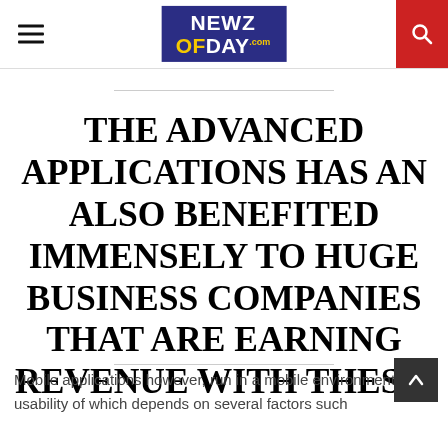NEWZ OF DAY
THE ADVANCED APPLICATIONS HAS AN ALSO BENEFITED IMMENSELY TO HUGE BUSINESS COMPANIES THAT ARE EARNING REVENUE WITH THESE.
Mobile applications however, run in a mobile environment, the usability of which depends on several factors such